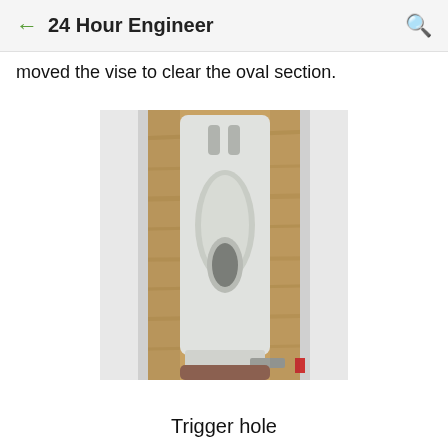24 Hour Engineer
moved the vise to clear the oval section.
[Figure (photo): Close-up photo of a white plastic part with an oval trigger hole cutout, held in a vise, with a wooden workbench surface visible in the background.]
Trigger hole